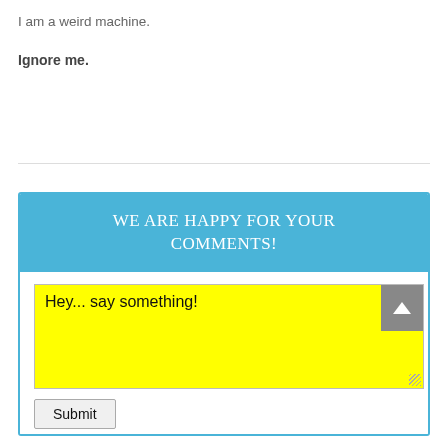I am a weird machine.
Ignore me.
[Figure (screenshot): A comment submission widget with blue header reading 'WE ARE HAPPY FOR YOUR COMMENTS!', a yellow textarea with placeholder text 'Hey... say something!', a scroll-to-top button, and a Submit button.]